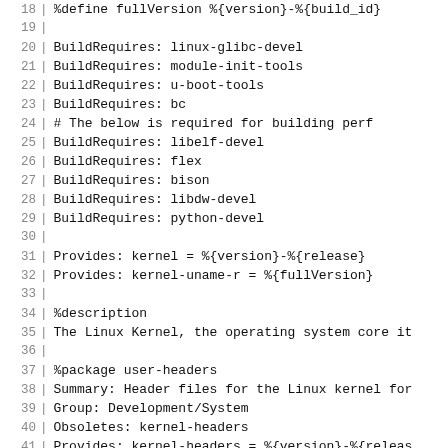18  %define fullVersion %{version}-%{build_id}
19
20  BuildRequires: linux-glibc-devel
21  BuildRequires: module-init-tools
22  BuildRequires: u-boot-tools
23  BuildRequires: bc
24  # The below is required for building perf
25  BuildRequires: libelf-devel
26  BuildRequires: flex
27  BuildRequires: bison
28  BuildRequires: libdw-devel
29  BuildRequires: python-devel
30
31  Provides: kernel = %{version}-%{release}
32  Provides: kernel-uname-r = %{fullVersion}
33
34  %description
35  The Linux Kernel, the operating system core it
36
37  %package user-headers
38  Summary: Header files for the Linux kernel for
39  Group: Development/System
40  Obsoletes: kernel-headers
41  Provides: kernel-headers = %{version}-%{releas
42
43  %description user-headers
44  Kernel-headers includes the C header files tha
45  between the Linux kernel and userspace librari
46  header files define structures and constants t
47  building most standard programs and are also r